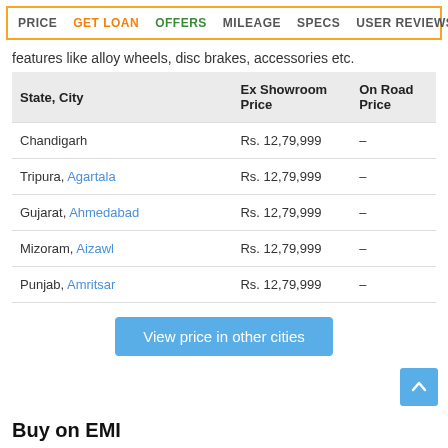PRICE | GET LOAN | OFFERS | MILEAGE | SPECS | USER REVIEWS
features like alloy wheels, disc brakes, accessories etc.
| State, City | Ex Showroom Price | On Road Price |
| --- | --- | --- |
| Chandigarh | Rs. 12,79,999 | – |
| Tripura, Agartala | Rs. 12,79,999 | – |
| Gujarat, Ahmedabad | Rs. 12,79,999 | – |
| Mizoram, Aizawl | Rs. 12,79,999 | – |
| Punjab, Amritsar | Rs. 12,79,999 | – |
View price in other cities
Buy on EMI